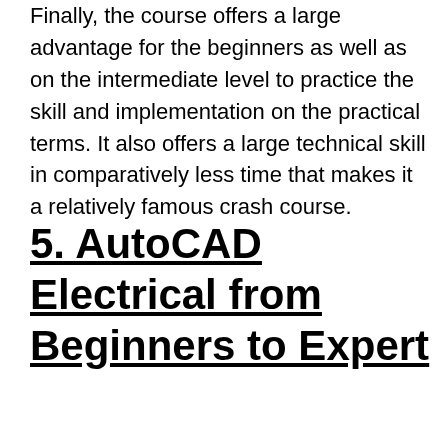Finally, the course offers a large advantage for the beginners as well as on the intermediate level to practice the skill and implementation on the practical terms. It also offers a large technical skill in comparatively less time that makes it a relatively famous crash course.
5. AutoCAD Electrical from Beginners to Expert